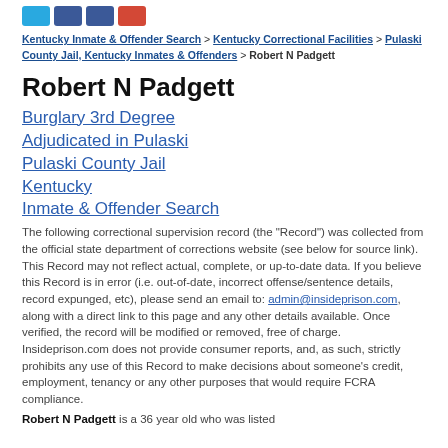[Figure (other): Social media share icons: Twitter (blue), Facebook (dark blue, two), Google+ (red)]
Kentucky Inmate & Offender Search > Kentucky Correctional Facilities > Pulaski County Jail, Kentucky Inmates & Offenders > Robert N Padgett
Robert N Padgett
Burglary 3rd Degree
Adjudicated in Pulaski
Pulaski County Jail
Kentucky
Inmate & Offender Search
The following correctional supervision record (the "Record") was collected from the official state department of corrections website (see below for source link). This Record may not reflect actual, complete, or up-to-date data. If you believe this Record is in error (i.e. out-of-date, incorrect offense/sentence details, record expunged, etc), please send an email to: admin@insideprison.com, along with a direct link to this page and any other details available. Once verified, the record will be modified or removed, free of charge. Insideprison.com does not provide consumer reports, and, as such, strictly prohibits any use of this Record to make decisions about someone's credit, employment, tenancy or any other purposes that would require FCRA compliance.
Robert N Padgett is a 36 year old who was listed